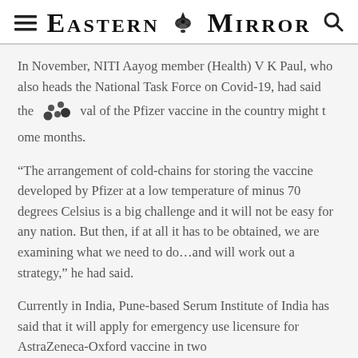Eastern Mirror
In November, NITI Aayog member (Health) V K Paul, who also heads the National Task Force on Covid-19, had said the arrival of the Pfizer vaccine in the country might take some months.
“The arrangement of cold-chains for storing the vaccine developed by Pfizer at a low temperature of minus 70 degrees Celsius is a big challenge and it will not be easy for any nation. But then, if at all it has to be obtained, we are examining what we need to do…and will work out a strategy,” he had said.
Currently in India, Pune-based Serum Institute of India has said that it will apply for emergency use licensure for AstraZeneca-Oxford vaccine in two